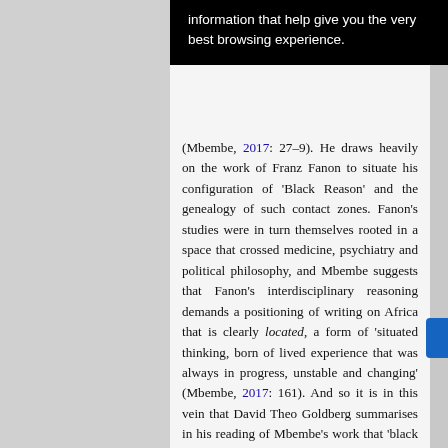[Figure (screenshot): Black cookie consent overlay banner showing partial text: 'information that help give you the very best browsing experience.']
(Mbembe, 2017: 27–9). He draws heavily on the work of Franz Fanon to situate his configuration of 'Black Reason' and the genealogy of such contact zones. Fanon's studies were in turn themselves rooted in a space that crossed medicine, psychiatry and political philosophy, and Mbembe suggests that Fanon's interdisciplinary reasoning demands a positioning of writing on Africa that is clearly located, a form of 'situated thinking, born of lived experience that was always in progress, unstable and changing' (Mbembe, 2017: 161). And so it is in this vein that David Theo Goldberg summarises in his reading of Mbembe's work that 'black reason is itself constituted ambiguously, partly from the outside, partly self